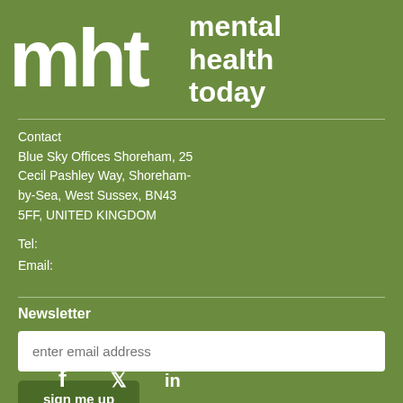[Figure (logo): Mental Health Today logo with 'mht' letters in white on green background and 'mental health today' text]
Contact
Blue Sky Offices Shoreham, 25 Cecil Pashley Way, Shoreham-by-Sea, West Sussex, BN43 5FF, UNITED KINGDOM
Tel:
Email:
Newsletter
enter email address
sign me up
[Figure (infographic): Social media icons: Facebook (f), Twitter (bird), LinkedIn (in)]